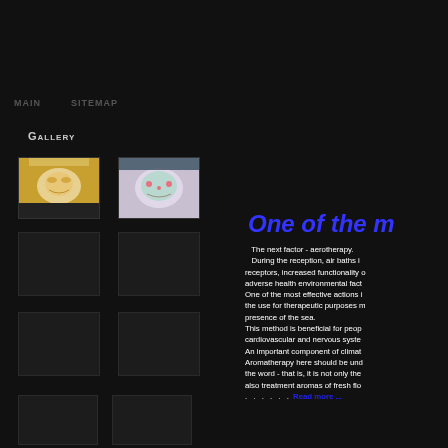MAIN   SITEMAP
Gallery
[Figure (photo): Woman lying down with eyes closed, spa treatment, blonde hair, yellow background]
[Figure (photo): Woman with facial mask, dark hair, lying down, spa treatment]
[Figure (photo): Empty gallery placeholder 1]
[Figure (photo): Empty gallery placeholder 2]
[Figure (photo): Empty gallery placeholder 3]
[Figure (photo): Empty gallery placeholder 4]
[Figure (photo): Empty gallery placeholder 5]
[Figure (photo): Empty gallery placeholder 6]
One of the m
The next factor - aerotherapy. During the reception, air baths improve the functioning of skin receptors, increased functionality of the nervous system, training of resistance to adverse health environmental factors. One of the most effective actions is the use for therapeutic purposes marine air - it is called aero marine presence of the sea. This method is beneficial for people suffering from diseases of the cardiovascular and nervous system, as well as for overweight. An important component of climatotherapy is aromatherapy. Aromatherapy here should be understood in the broad sense of the word - that is, it is not only the smell of essential oils, but also treatment aromas of fresh flowers, herbs and wood.
. . . . . .  Read more ...